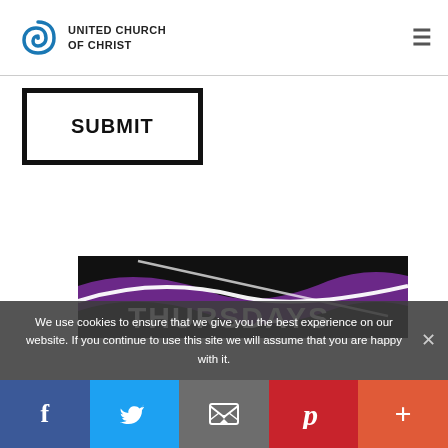[Figure (logo): United Church of Christ logo with spiral icon and text]
[Figure (other): Hamburger menu icon (three horizontal lines)]
[Figure (other): Submit button with thick black border]
[Figure (other): Banner image with black background, purple and white curved lines, and 'THURSDAYS' text]
We use cookies to ensure that we give you the best experience on our website. If you continue to use this site we will assume that you are happy with it.
[Figure (other): Social share bar with Facebook, Twitter, Email, Pinterest, and More buttons]